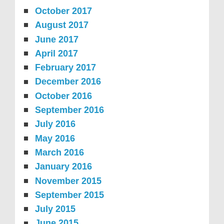October 2017
August 2017
June 2017
April 2017
February 2017
December 2016
October 2016
September 2016
July 2016
May 2016
March 2016
January 2016
November 2015
September 2015
July 2015
June 2015
March 2015
December 2014
October 2014
August 2014
June 2014